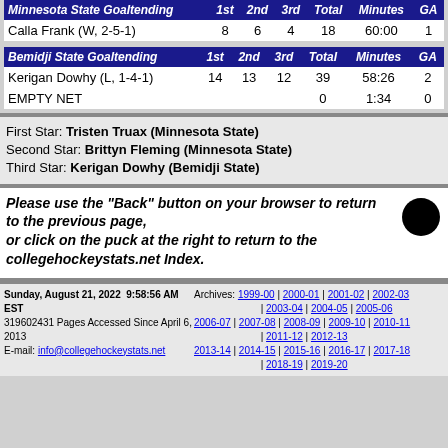| Minnesota State Goaltending | 1st | 2nd | 3rd | Total | Minutes | GA |
| --- | --- | --- | --- | --- | --- | --- |
| Calla Frank (W, 2-5-1) | 8 | 6 | 4 | 18 | 60:00 | 1 |
| Bemidji State Goaltending | 1st | 2nd | 3rd | Total | Minutes | GA |
| --- | --- | --- | --- | --- | --- | --- |
| Kerigan Dowhy (L, 1-4-1) | 14 | 13 | 12 | 39 | 58:26 | 2 |
| EMPTY NET |  |  |  | 0 | 1:34 | 0 |
First Star: Tristen Truax (Minnesota State)
Second Star: Brittyn Fleming (Minnesota State)
Third Star: Kerigan Dowhy (Bemidji State)
Please use the "Back" button on your browser to return to the previous page, or click on the puck at the right to return to the collegehockeystats.net Index.
Sunday, August 21, 2022  9:58:56 AM  EST  319602431 Pages Accessed Since April 6, 2013  E-mail: info@collegehockeystats.net  Archives: 1999-00 | 2000-01 | 2001-02 | 2002-03 | 2003-04 | 2004-05 | 2005-06 | 2006-07 | 2007-08 | 2008-09 | 2009-10 | 2010-11 | 2011-12 | 2012-13 | 2013-14 | 2014-15 | 2015-16 | 2016-17 | 2017-18 | 2018-19 | 2019-20